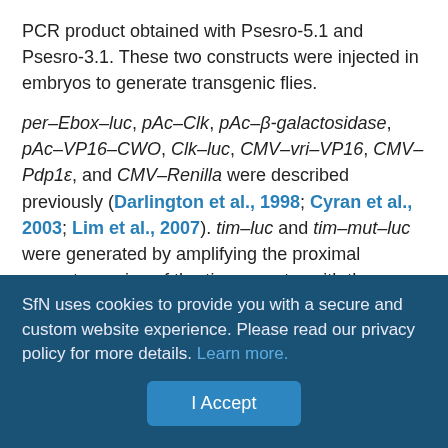PCR product obtained with Psesro-5.1 and Psesro-3.1. These two constructs were injected in embryos to generate transgenic flies.
per–Ebox–luc, pAc–Clk, pAc–β-galactosidase, pAc–VP16–CWO, Clk–luc, CMV–vri–VP16, CMV–Pdp1ε, and CMV–Renilla were described previously (Darlington et al., 1998; Cyran et al., 2003; Lim et al., 2007). tim–luc and tim–mut–luc were generated by amplifying the proximal promoter region of the tim promoter with the following primers: 5'tim, 5'-CTAGCTGGTACCGAGTGCACAGAAACGTTCTG-3'; 3'tim, 5'-GCTACGACGCGTCTGAAAGTAGTTTTAAGAATATTTG-3'; ap1mut1, 5'-CTGCGACTCGAGGTGTAAGCACTCTCTTTAAGAT-3'; and ap1mut2, 5'-CGTCGACTCGAGCTGGTCTTTCTCTCAGTGTT-
SfN uses cookies to provide you with a secure and custom website experience. Please read our privacy policy for more details. Learn more.